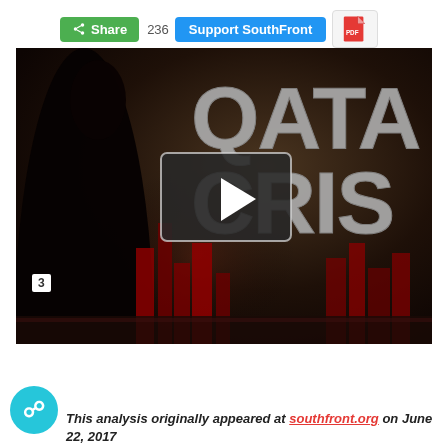[Figure (screenshot): Top navigation bar with green Share button showing count 236, blue Support SouthFront button, and PDF icon button]
[Figure (screenshot): Video thumbnail showing 'QATAR CRISIS' text in metallic letters with dark silhouette figure, red city skyline, and center play button overlay]
This analysis originally appeared at southfront.org on June 22, 2017